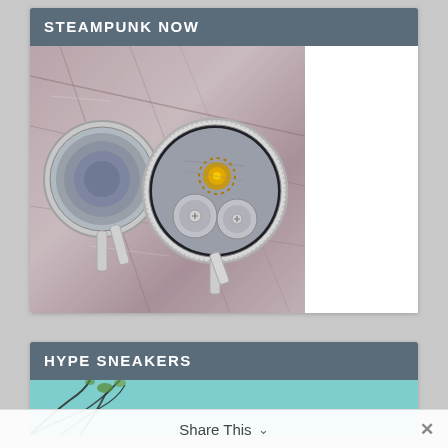STEAMPUNK NOW
[Figure (photo): Two steampunk-style cufflinks showing exposed watch movement mechanisms with gears, placed on a marbled purple-grey surface. The cufflinks are circular, silver-toned, with intricate clockwork gear details visible.]
HYPE SNEAKERS
[Figure (photo): Partial view of sneakers image with teal/turquoise background and tree branches visible at bottom.]
Share This